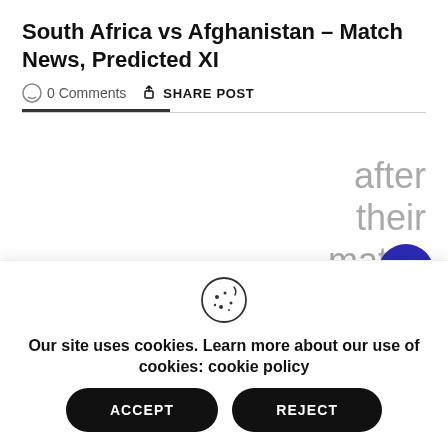South Africa vs Afghanistan – Match News, Predicted XI
0 Comments   SHARE POST
after their match versus the Windies
Our site uses cookies. Learn more about our use of cookies: cookie policy
ACCEPT
REJECT